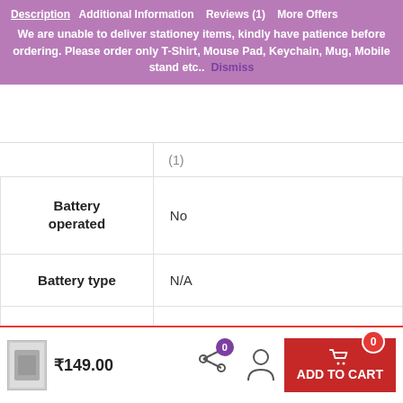Description  Additional Information  Reviews (1)  More Offers
We are unable to deliver stationey items, kindly have patience before ordering. Please order only T-Shirt, Mouse Pad, Keychain, Mug, Mobile stand etc..  Dismiss
|  | (?) |
| Battery operated | No |
| Battery type | N/A |
| Battery included | NO |
| Assembly Required | No |
₹149.00
ADD TO CART